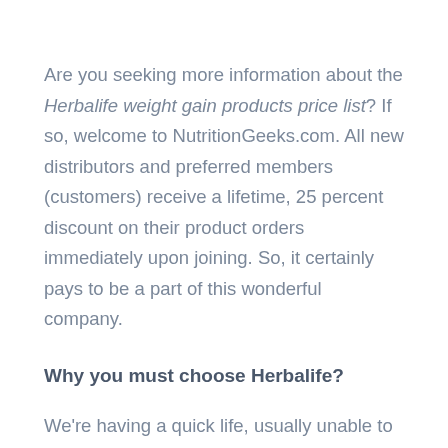Are you seeking more information about the Herbalife weight gain products price list? If so, welcome to NutritionGeeks.com. All new distributors and preferred members (customers) receive a lifetime, 25 percent discount on their product orders immediately upon joining. So, it certainly pays to be a part of this wonderful company.
Why you must choose Herbalife?
We're having a quick life, usually unable to keep